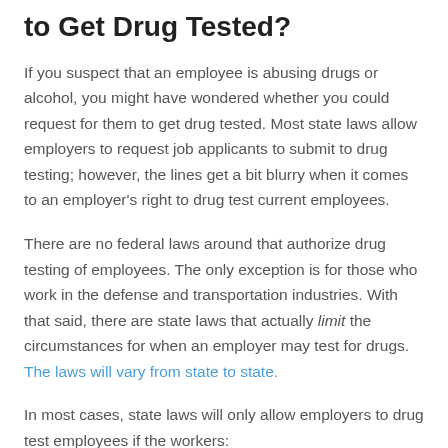to Get Drug Tested?
If you suspect that an employee is abusing drugs or alcohol, you might have wondered whether you could request for them to get drug tested. Most state laws allow employers to request job applicants to submit to drug testing; however, the lines get a bit blurry when it comes to an employer's right to drug test current employees.
There are no federal laws around that authorize drug testing of employees. The only exception is for those who work in the defense and transportation industries. With that said, there are state laws that actually limit the circumstances for when an employer may test for drugs. The laws will vary from state to state.
In most cases, state laws will only allow employers to drug test employees if the workers:
Have a job that carries a high risk of injury to either